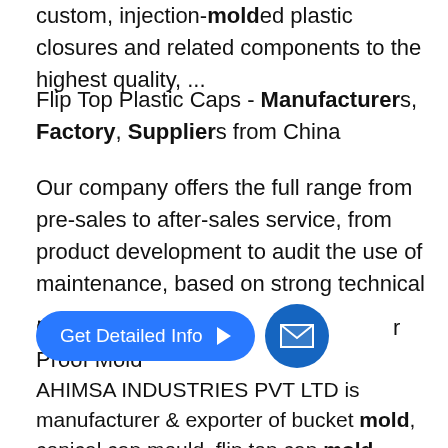custom, injection-molded plastic closures and related components to the highest quality, ...
Flip Top Plastic Caps - Manufacturers, Factory, Suppliers from China
Our company offers the full range from pre-sales to after-sales service, from product development to audit the use of maintenance, based on strong technical ...
Conical Cap Mould ... Temper Proof Mold
[Figure (other): Blue 'Get Detailed Info' button with arrow and blue circle email icon]
AHIMSA INDUSTRIES PVT LTD is manufacturer & exporter of bucket mold, conical cap mould, flip top cap mold, temper proof mold, caps & closures mold, ...
Plastic injection mould,PET preform mould,cap mould and blowing ...